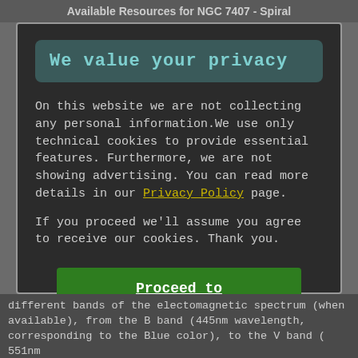Available Resources for NGC 7407 - Spiral
We value your privacy
On this website we are not collecting any personal information.We use only technical cookies to provide essential features. Furthermore, we are not showing advertising. You can read more details in our Privacy Policy page.
If you proceed we'll assume you agree to receive our cookies. Thank you.
Proceed to TheSkyLive.com
different bands of the electomagnetic spectrum (when available), from the B band (445nm wavelength, corresponding to the Blue color), to the V band ( 551nm